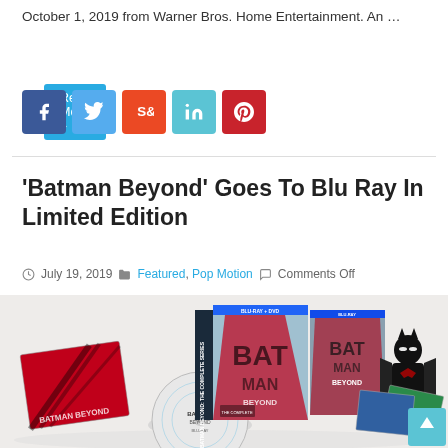October 1, 2019 from Warner Bros. Home Entertainment. An …
Read More »
[Figure (other): Social share buttons: Facebook (blue), Twitter (light blue), StumbleUpon (orange-red), LinkedIn (teal), Pinterest (red)]
'Batman Beyond' Goes To Blu Ray In Limited Edition
July 19, 2019   Featured, Pop Motion   Comments Off
[Figure (photo): Batman Beyond Limited Edition Blu-ray box set product photo showing the box set, individual Blu-ray cases, a Batman Beyond Funko Pop figure, art cards, and discs spread out on a white background.]